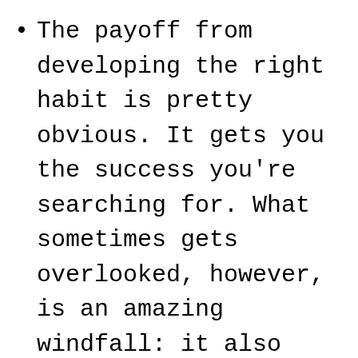The payoff from developing the right habit is pretty obvious. It gets you the success you're searching for. What sometimes gets overlooked, however, is an amazing windfall: it also simplifies your life. Your life gets clearer and less complicated because you know what you have to do well and you know what you don't. The fact of the matter is that